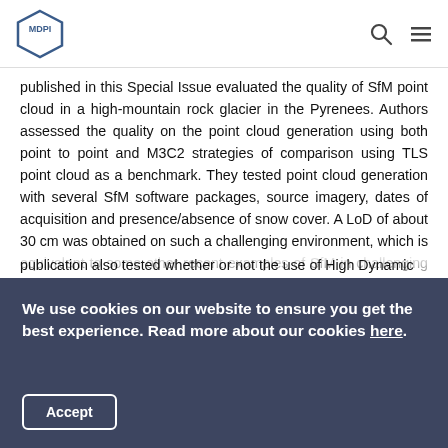MDPI [logo] [search icon] [menu icon]
published in this Special Issue evaluated the quality of SfM point cloud in a high-mountain rock glacier in the Pyrenees. Authors assessed the quality on the point cloud generation using both point to point and M3C2 strategies of comparison using TLS point cloud as a benchmark. They tested point cloud generation with several SfM software packages, source imagery, dates of acquisition and presence/absence of snow cover. A LoD of about 30 cm was obtained on such a challenging environment, which is equivalent to some other recent examples of SfM in challenging situations [3,4,43]. Although the accuracy of point cloud reconstructions using different cameras and software packages was evaluated before [44,45], the authors of this publication also tested whether or not the use of High Dynamic
We use cookies on our website to ensure you get the best experience. Read more about our cookies here.
Accept